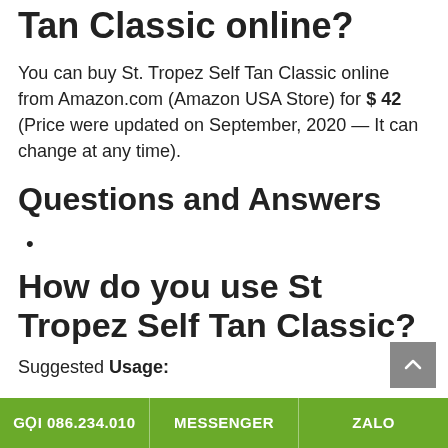Tan Classic online?
You can buy St. Tropez Self Tan Classic online from Amazon.com (Amazon USA Store) for $ 42 (Price were updated on September, 2020 — It can change at any time).
Questions and Answers
•
How do you use St Tropez Self Tan Classic?
Suggested Usage:
GỌI 086.234.010   MESSENGER   ZALO